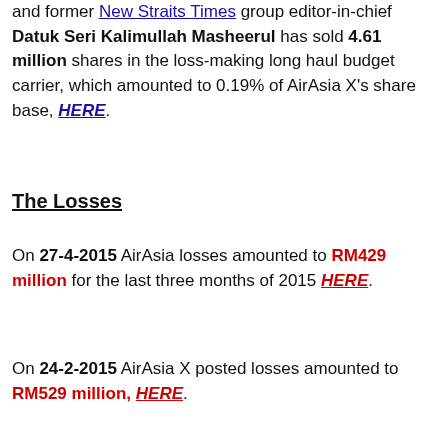and former New Straits Times group editor-in-chief Datuk Seri Kalimullah Masheerul has sold 4.61 million shares in the loss-making long haul budget carrier, which amounted to 0.19% of AirAsia X's share base, HERE.
The Losses
On 27-4-2015 AirAsia losses amounted to RM429 million for the last three months of 2015 HERE.
On 24-2-2015 AirAsia X posted losses amounted to RM529 million, HERE.
Malaysia's AirAsia X Bhd will cut flights on unprofitable routes, reorganize staff and defer some